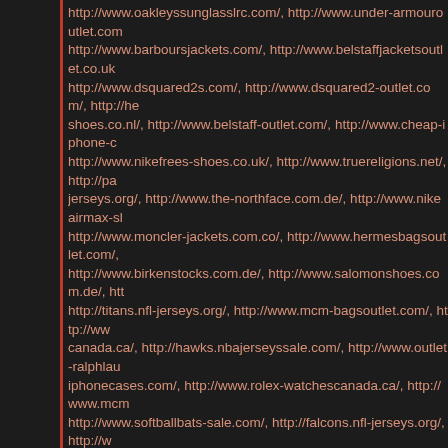http://www.oakleyssunglasslrc.com/, http://www.under-armouroutlet.com/, http://www.barboursjackets.com/, http://www.belstaffjacketsoutlet.co.uk/, http://www.dsquared2s.com/, http://www.dsquared2-outlet.com/, http://he-shoes.co.nl/, http://www.belstaff-outlet.com/, http://www.cheap-iphone-c-, http://www.nikefrees-shoes.co.uk/, http://www.truereligions.net/, http://pa-jerseys.org/, http://www.the-northface.com.de/, http://www.nikeairmax-sl-, http://www.moncler-jackets.com.co/, http://www.hermesbagsoutlet.com/, http://www.birkenstocks.com.de/, http://www.salomonshoes.com.de/, htt-, http://titans.nfl-jerseys.org/, http://www.mcm-bagsoutlet.com/, http://www-canada.ca/, http://hawks.nbajerseyssale.com/, http://www.outlet-ralphlau-, iphonecases.com/, http://www.rolex-watchescanada.ca/, http://www.mcm-, http://www.softballbats-sale.com/, http://falcons.nfl-jerseys.org/, http://w-, http://www.australia-michaelkors.com/, http://bengals.nfl-jerseys.org/, htt-, http://www.michaelkorsoutlet.online/, http://www.hugo-boss.com.co/, htt-, http://www.lacoste-polos.us.com/, http://www.outlet-pumashoes.com/, ht-, shoes.org.es/, http://lions.nfl-jerseys.org/, http://www.michaelkorspurses.-, mlbjerseys.us.com/, http://www.toms--outlet.com.co/, http://www.armani-, michaelkors.com/, http://www.air-maxschoenen.co.nl/, http://wizards.nba-, http://www.tommyhilfigerca.ca/, http://www.hollister.com.se/, http://www-, http://bears.nfl-jerseys.org/, http://www.giuseppezanotti.com.co/, http://w-, http://www.ferragamo.net.co/, http://www.kate-spadebags.com/, http://wv-, http://www.nbajerseyssale.com/, http://jaguars.nfl-jerseys.org/, http://ww-, kleinoutlet.com/, http://www.oakleys-lrc.com/, http://www.airhuarache-sl-, outlet.com/, http://www.outlet-true-religion.com/, http://redskins.nfl-jerse-, http://www.hoodiesoutlet.net/, http://www.adidasschuhe-online.com.de/, http://www.ralph-laurenpolos.com/, http://www.newbalanceschuhe.com.d-, http://www.oakleys-online.com.co/, http://www.fred-perrys.co.uk/, htt-